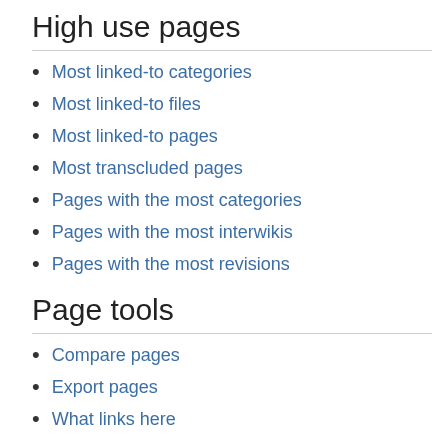High use pages
Most linked-to categories
Most linked-to files
Most linked-to pages
Most transcluded pages
Pages with the most categories
Pages with the most interwikis
Pages with the most revisions
Page tools
Compare pages
Export pages
What links here